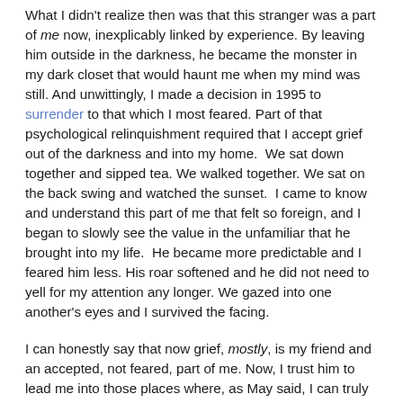What I didn't realize then was that this stranger was a part of me now, inexplicably linked by experience. By leaving him outside in the darkness, he became the monster in my dark closet that would haunt me when my mind was still. And unwittingly, I made a decision in 1995 to surrender to that which I most feared. Part of that psychological relinquishment required that I accept grief out of the darkness and into my home.  We sat down together and sipped tea. We walked together. We sat on the back swing and watched the sunset.  I came to know and understand this part of me that felt so foreign, and I began to slowly see the value in the unfamiliar that he brought into my life.  He became more predictable and I feared him less. His roar softened and he did not need to yell for my attention any longer. We gazed into one another's eyes and I survived the facing.
I can honestly say that now grief, mostly, is my friend and an accepted, not feared, part of me. Now, I trust him to lead me into those places where, as May said, I can truly experience the pain, believing that beauty will soon follow, and knowing that I will experience the intensity of consciousness that far